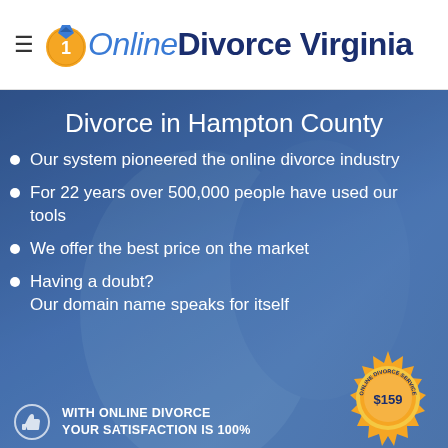≡ OnlineDivorce Virginia
Divorce in Hampton County
Our system pioneered the online divorce industry
For 22 years over 500,000 people have used our tools
We offer the best price on the market
Having a doubt? Our domain name speaks for itself
WITH ONLINE DIVORCE your satisfaction is 100%
[Figure (other): Badge seal reading ONLINE DIVORCE SERVICE with price $159]